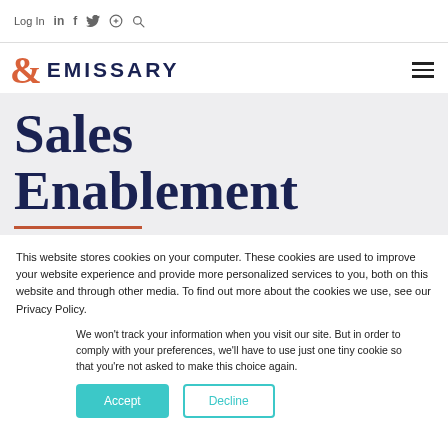Log In  in  f  🐦  🔍
[Figure (logo): Emissary logo: orange ampersand followed by EMISSARY in dark navy bold uppercase text]
Sales Enablement
This website stores cookies on your computer. These cookies are used to improve your website experience and provide more personalized services to you, both on this website and through other media. To find out more about the cookies we use, see our Privacy Policy.
We won't track your information when you visit our site. But in order to comply with your preferences, we'll have to use just one tiny cookie so that you're not asked to make this choice again.
Accept   Decline